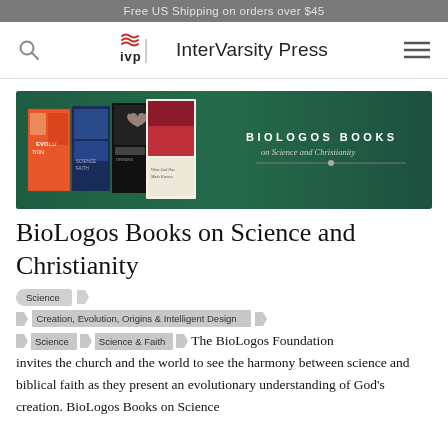Free US Shipping on orders over $45
[Figure (logo): IVP InterVarsity Press navigation bar with search icon, IVP logo, and hamburger menu]
[Figure (illustration): BioLogos Books on Science and Christianity banner: green background with several book covers on the left and BIOLOGOS BOOKS on Science and Christianity text on the right]
BioLogos Books on Science and Christianity
Science
Creation, Evolution, Origins & Intelligent Design
Science > Science & Faith
The BioLogos Foundation invites the church and the world to see the harmony between science and biblical faith as they present an evolutionary understanding of God's creation. BioLogos Books on Science